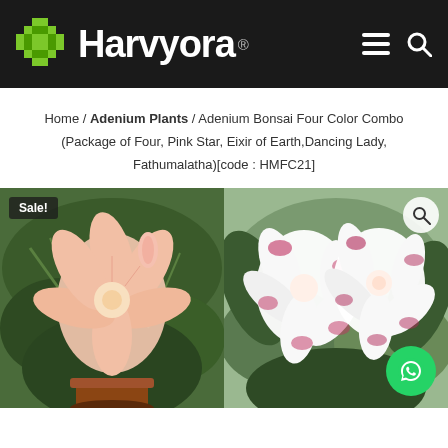Harvyora ®
Home / Adenium Plants / Adenium Bonsai Four Color Combo (Package of Four, Pink Star, Eixir of Earth,Dancing Lady, Fathumalatha)[code : HMFC21]
[Figure (photo): Left: Adenium bonsai flower with light pink petals and green foliage, marked with Sale! badge. Right: Adenium bonsai with white and dark pink/red edged flowers with search icon and WhatsApp button.]